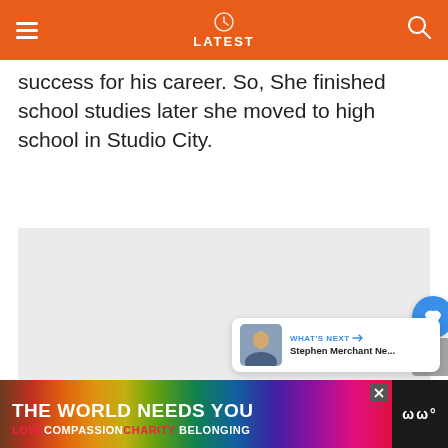LATEST
success for his career. So, She finished school studies later she moved to high school in Studio City.
[Figure (other): Gray placeholder image area with three dots indicating loading/slideshow]
[Figure (other): What's Next panel showing Stephen Merchant Ne... with avatar image and navigation arrow]
[Figure (other): Bottom advertisement banner: THE WORLD NEEDS YOU / LOVE COMPASSION CHARITY BELONGING]